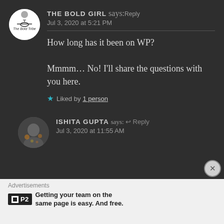THE BOLD GIRL says: Reply
Jul 3, 2020 at 5:21 PM
How long has it been on WP?

Mmmm… No! I'll share the questions with you here.
★ Liked by 1 person
ISHITA GUPTA says: ↩ Reply
Jul 3, 2020 at 11:55 AM
Advertisements
Getting your team on the same page is easy. And free.